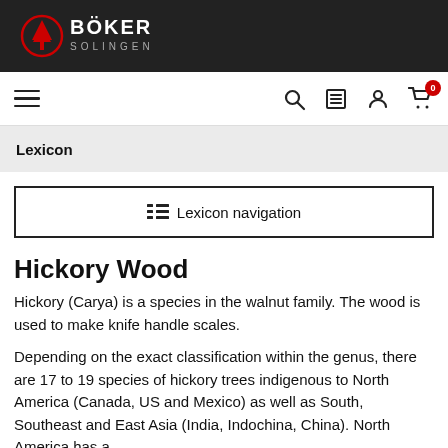BÖKER SOLINGEN
[Figure (logo): Böker Solingen logo with tree emblem on dark background]
Lexicon
☰  Lexicon navigation
Hickory Wood
Hickory (Carya) is a species in the walnut family. The wood is used to make knife handle scales.
Depending on the exact classification within the genus, there are 17 to 19 species of hickory trees indigenous to North America (Canada, US and Mexico) as well as South, Southeast and East Asia (India, Indochina, China). North America has a